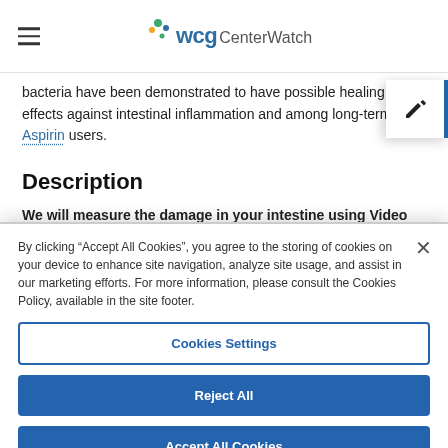WCG CenterWatch
bacteria have been demonstrated to have possible healing effects against intestinal inflammation and among long-term Aspirin users.
Description
We will measure the damage in your intestine using Video Capsule Endoscopy (VCE). Capsule endoscopy uses a tiny wireless camera
By clicking “Accept All Cookies”, you agree to the storing of cookies on your device to enhance site navigation, analyze site usage, and assist in our marketing efforts. For more information, please consult the Cookies Policy, available in the site footer.
Cookies Settings
Reject All
Accept All Cookies